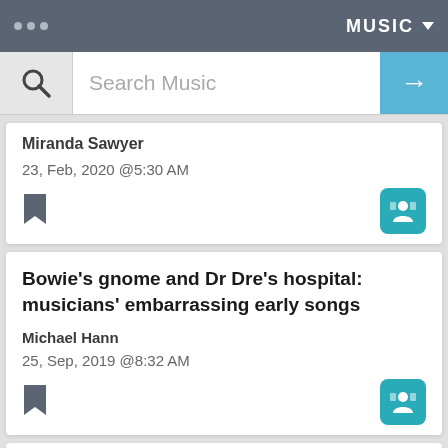MUSIC
[Figure (screenshot): Search bar with magnifying glass icon, 'Search Music' placeholder text, and blue arrow button]
Miranda Sawyer
23, Feb, 2020 @5:30 AM
Bowie's gnome and Dr Dre's hospital: musicians' embarrassing early songs
Michael Hann
25, Sep, 2019 @8:32 AM
Sam…